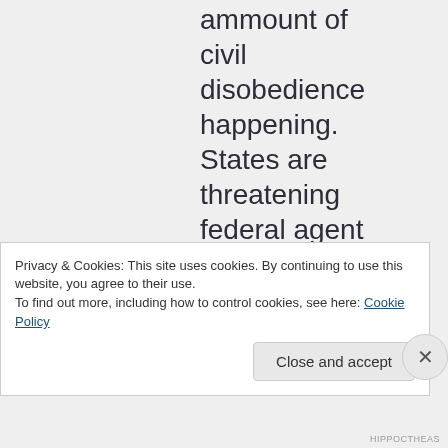ammount of civil disobedience happening. States are threatening federal agent with jail time for trying to enforce laws deemed
Privacy & Cookies: This site uses cookies. By continuing to use this website, you agree to their use.
To find out more, including how to control cookies, see here: Cookie Policy
Close and accept